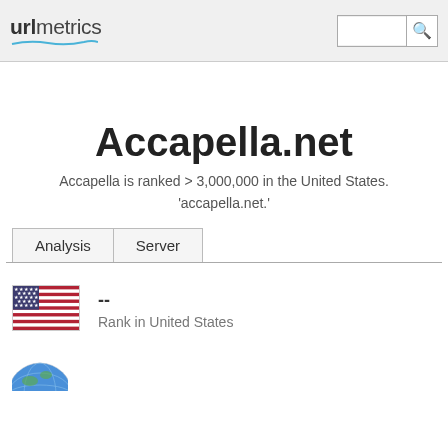URLmetrics
Accapella.net
Accapella is ranked > 3,000,000 in the United States. 'accapella.net.'
Analysis   Server
--
Rank in United States